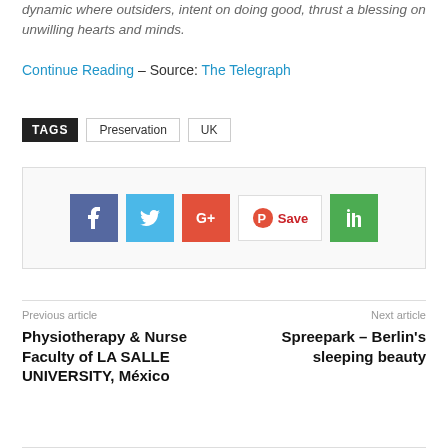dynamic where outsiders, intent on doing good, thrust a blessing on unwilling hearts and minds.
Continue Reading – Source: The Telegraph
TAGS  Preservation  UK
[Figure (other): Social sharing buttons: Facebook, Twitter, Google+, Pinterest Save, LinkedIn]
Previous article
Physiotherapy & Nurse Faculty of LA SALLE UNIVERSITY, México
Next article
Spreepark – Berlin's sleeping beauty